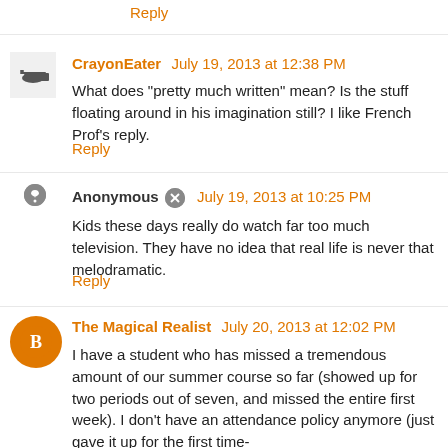Reply
CrayonEater  July 19, 2013 at 12:38 PM
What does "pretty much written" mean? Is the stuff floating around in his imagination still? I like French Prof's reply.
Reply
Anonymous  July 19, 2013 at 10:25 PM
Kids these days really do watch far too much television. They have no idea that real life is never that melodramatic.
Reply
The Magical Realist  July 20, 2013 at 12:02 PM
I have a student who has missed a tremendous amount of our summer course so far (showed up for two periods out of seven, and missed the entire first week). I don't have an attendance policy anymore (just gave it up for the first time-